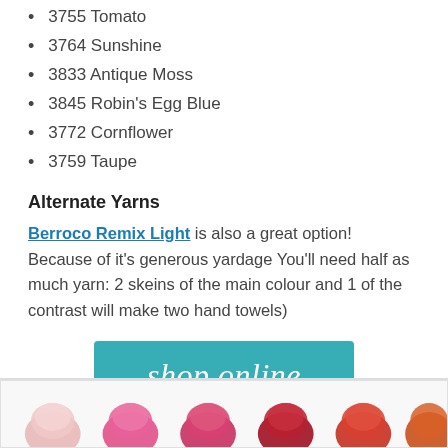3755 Tomato
3764 Sunshine
3833 Antique Moss
3845 Robin's Egg Blue
3772 Cornflower
3759 Taupe
Alternate Yarns
Berroco Remix Light is also a great option! Because of it's generous yardage You'll need half as much yarn: 2 skeins of the main colour and 1 of the contrast will make two hand towels)
[Figure (other): Teal/turquoise 'shop online' button banner]
[Figure (photo): Row of colorful yarn skeins in pink, magenta, red, dark red, and orange tones]